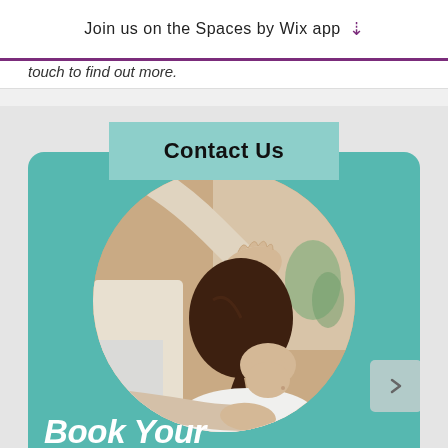Join us on the Spaces by Wix app ↓
touch to find out more.
[Figure (other): A button labelled 'Contact Us' with a teal/mint green background]
[Figure (photo): Chiropractic or physiotherapy treatment photo showing hands on a patient's head and shoulder/neck area, displayed in a circular crop on a teal card background. Partially visible 'Book Your' text at the bottom.]